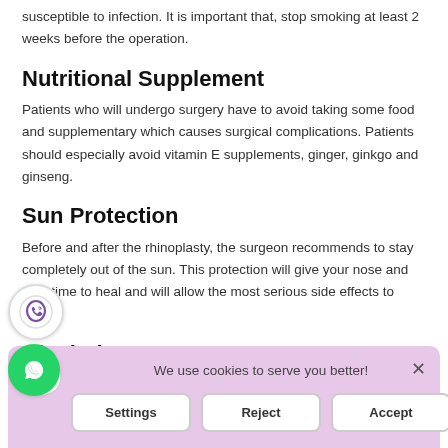susceptible to infection. It is important that, stop smoking at least 2 weeks before the operation.
Nutritional Supplement
Patients who will undergo surgery have to avoid taking some food and supplementary which causes surgical complications. Patients should especially avoid vitamin E supplements, ginger, ginkgo and ginseng.
Sun Protection
Before and after the rhinoplasty, the surgeon recommends to stay completely out of the sun. This protection will give your nose and face time to heal and will allow the most serious side effects to pass.
Alcohol
A… wor… and ultimately inhibiting their ability to coagulate. Therefore are
[Figure (infographic): Cookie consent banner with pink/lavender background, Settings, Reject, and Accept buttons. Close X button top right. Cookie icon top left of banner. Viber and WhatsApp social icons floating on left side.]